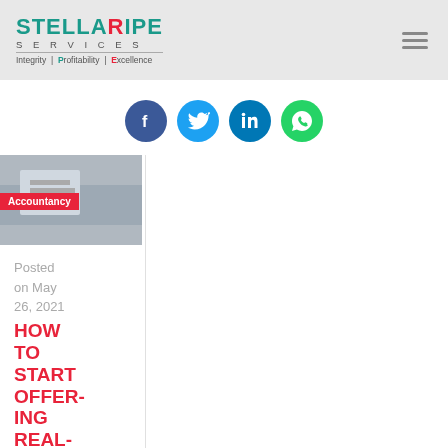STELLARIPE SERVICES | Integrity | Profitability | Excellence
[Figure (infographic): Social sharing icons: Facebook (blue circle), Twitter (light blue circle), LinkedIn (dark blue circle), WhatsApp (green circle)]
[Figure (photo): Accountancy blog post thumbnail image with red Accountancy badge]
Posted on May 26, 2021
HOW TO START OFFERING REAL-TIME ACCOU